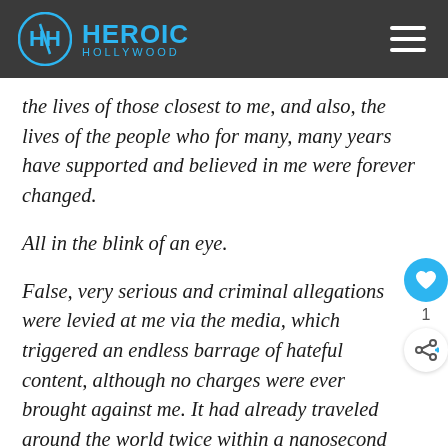Heroic Hollywood
the lives of those closest to me, and also, the lives of the people who for many, many years have supported and believed in me were forever changed.
All in the blink of an eye.
False, very serious and criminal allegations were levied at me via the media, which triggered an endless barrage of hateful content, although no charges were ever brought against me. It had already traveled around the world twice within a nanosecond